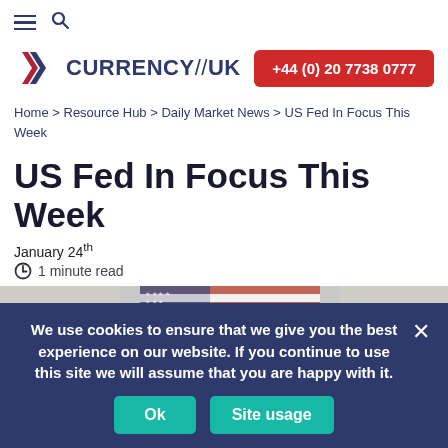≡ 🔍 (hamburger and search icons)
[Figure (logo): Currency//UK logo with red/blue chevron icon and navy text, plus red phone button '+44 (0) 20 7738 0777']
Home > Resource Hub > Daily Market News > US Fed In Focus This Week
US Fed In Focus This Week
January 24th
🕐 1 minute read
[Figure (photo): Partial hero image showing US dollar bills and American flag in background, blurred]
We use cookies to ensure that we give you the best experience on our website. If you continue to use this site we will assume that you are happy with it.
Ok   Site usage